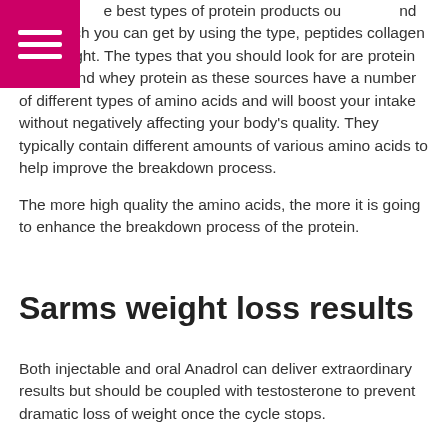some of the best types of protein products out there and how much you can get by using the type, peptides collagen loss weight. The types that you should look for are protein blends and whey protein as these sources have a number of different types of amino acids and will boost your intake without negatively affecting your body's quality. They typically contain different amounts of various amino acids to help improve the breakdown process.
The more high quality the amino acids, the more it is going to enhance the breakdown process of the protein.
Sarms weight loss results
Both injectable and oral Anadrol can deliver extraordinary results but should be coupled with testosterone to prevent dramatic loss of weight once the cycle stops.